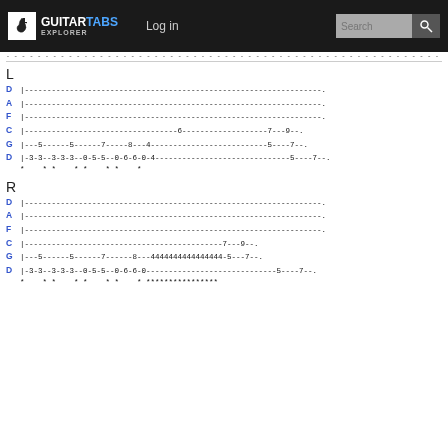GUITARTABS EXPLORER | Log in | Search
... (tab dots continuation line)
L
D|------------------------------------------------------------------.
A|------------------------------------------------------------------.
F|------------------------------------------------------------------.
C|----------------------------------6-------------------7---9--.
G|---5------5------7-----8---4--------------------------5----7--.
D|-3-3--3-3-3--0-5-5--0-6-6-0-4------------------------------5----7--.
  *    * *    * *    * *    *
R
D|------------------------------------------------------------------.
A|------------------------------------------------------------------.
F|------------------------------------------------------------------.
C|--------------------------------------------7---9--.
G|---5------5------7------8---4444444444444444-5---7--.
D|-3-3--3-3-3--0-5-5--0-6-6-0----------------------------5----7--.
  *    * *    * *    * *    * ****************